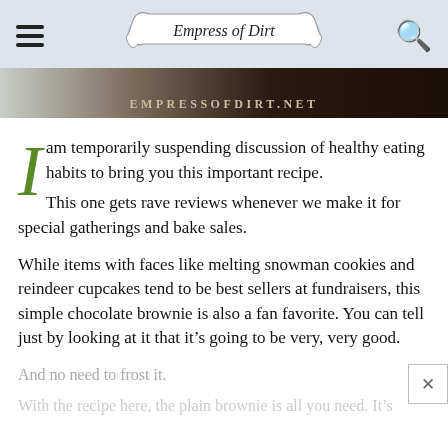Empress of Dirt — EMPRESSOFDIRT.NET
[Figure (screenshot): Header navigation bar with hamburger menu, Empress of Dirt banner logo, and search icon, followed by a dark photo strip showing EMPRESSOFDIRT.NET text over a brownie image]
I am temporarily suspending discussion of healthy eating habits to bring you this important recipe.
This one gets rave reviews whenever we make it for special gatherings and bake sales.
While items with faces like melting snowman cookies and reindeer cupcakes tend to be best sellers at fundraisers, this simple chocolate brownie is also a fan favorite. You can tell just by looking at it that it's going to be very, very good.
And no need to frost it.
With the recipe here, the plain brownie is all you need. It's